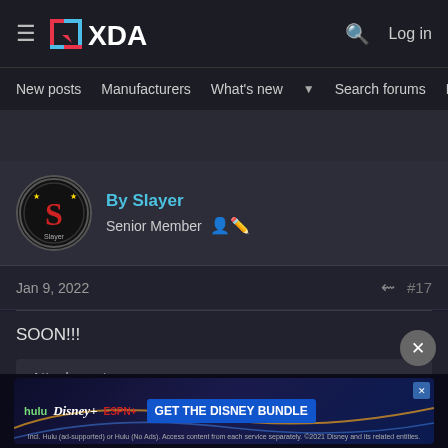XDA Developers — Log in
New posts  Manufacturers  What's new  Search forums  Members >
By Slayer
Senior Member
Jan 9, 2022  #17
SOON!!!
Attachments
[Figure (screenshot): Advertisement banner for Disney Bundle showing Hulu, Disney+, and ESPN+ logos with text 'GET THE DISNEY BUNDLE'. Fine print: Incl. Hulu (ad-supported) or Hulu (No Ads). Access content from each service separately. ©2021 Disney and its related entities.]